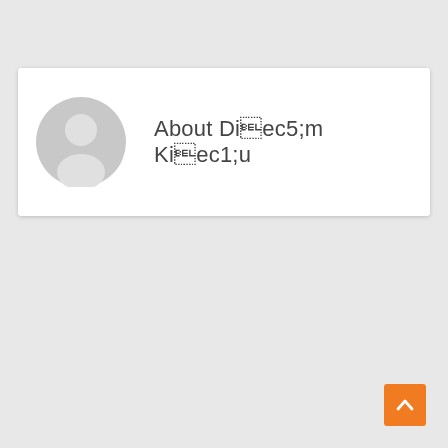[Figure (other): White card containing a circular grey avatar placeholder icon (generic person silhouette) on the left, and the text 'About Diễm Kiều' on the right]
About Diễm Kiều
[Figure (other): Orange square button with white upward-pointing chevron arrow, positioned bottom-right corner (back to top button)]